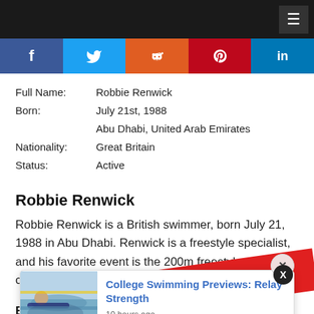[Figure (infographic): Social sharing bar with Facebook, Twitter, Reddit, Pinterest, LinkedIn icons]
Full Name: Robbie Renwick
Born: July 21st, 1988
       Abu Dhabi, United Arab Emirates
Nationality: Great Britain
Status: Active
Robbie Renwick
Robbie Renwick is a British swimmer, born July 21, 1988 in Abu Dhabi. Renwick is a freestyle specialist, and his favorite event is the 200m freestyle. Renwick claims that his
[Figure (photo): Popup card showing College Swimming Previews: Relay Strength article with swimmer photo, published 10 hours ago]
Early grow...